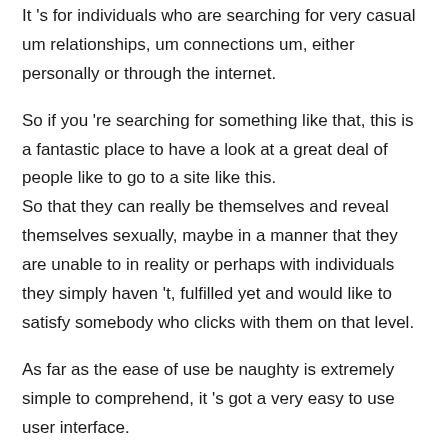It 's for individuals who are searching for very casual um relationships, um connections um, either personally or through the internet.
So if you 're searching for something like that, this is a fantastic place to have a look at a great deal of people like to go to a site like this.
So that they can really be themselves and reveal themselves sexually, maybe in a manner that they are unable to in reality or perhaps with individuals they simply haven 't, fulfilled yet and would like to satisfy somebody who clicks with them on that level.
As far as the ease of use be naughty is extremely simple to comprehend, it 's got a very easy to use user interface.
Registration can be completed in just a couple of minutes, although the drawback is that, since of that, many people skip this step.
That means that when you look at an individual's profile, at the